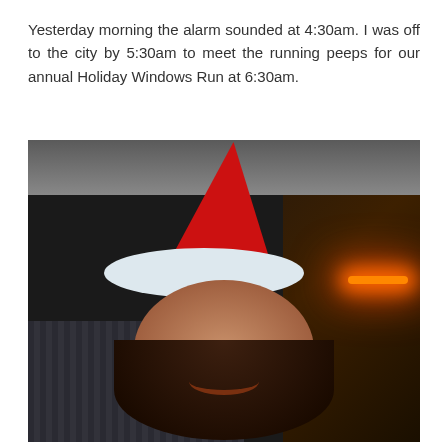Yesterday morning the alarm sounded at 4:30am. I was off to the city by 5:30am to meet the running peeps for our annual Holiday Windows Run at 6:30am.
[Figure (photo): A woman wearing a red and white Santa hat taking a selfie in a dark car, smiling at the camera with curly hair. Orange glow/lights visible through the car window in the background.]